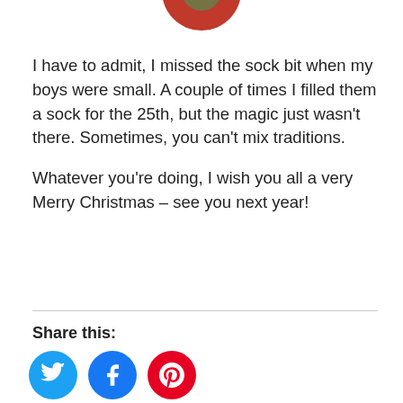[Figure (photo): Partial view of a red and green Christmas ornament or apple at the top of the page]
I have to admit, I missed the sock bit when my boys were small. A couple of times I filled them a sock for the 25th, but the magic just wasn't there. Sometimes, you can't mix traditions.
Whatever you're doing, I wish you all a very Merry Christmas – see you next year!
Share this:
[Figure (illustration): Three circular social media share buttons: Twitter (blue bird), Facebook (blue f), Pinterest (red P)]